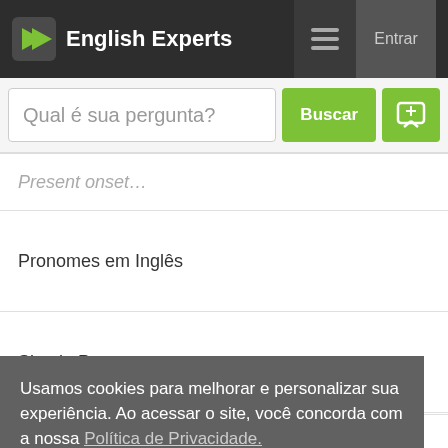English Experts
Qual é sua pergunta?
Present onset (partially visible)
Pronomes em Inglês
Simple Present
Stative Verbs
Substantivos em inglês (partially visible)
Usamos cookies para melhorar e personalizar sua experiência. Ao acessar o site, você concorda com a nossa Política de Privacidade.
Eu entendi!
RECENTES